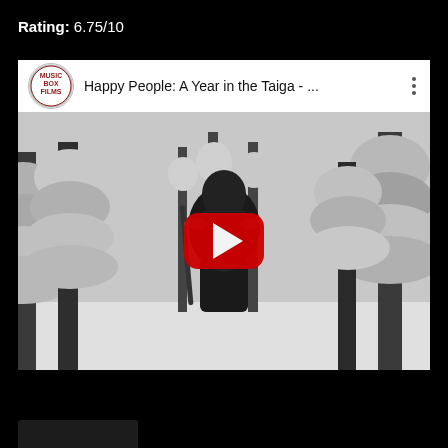Rating: 6.75/10
[Figure (screenshot): YouTube video embed showing 'Happy People: A Year in the Taiga - ...' with Music Box Films logo, black and white thumbnail of a person standing among snow-covered trees, and a red YouTube play button overlay.]